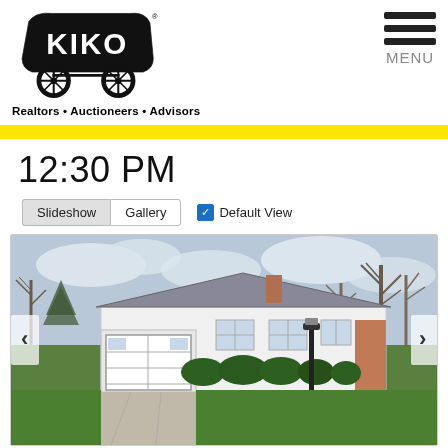[Figure (logo): KIKO logo - covered wagon with KIKO text inside, registered trademark]
Realtors • Auctioneers • Advisors
[Figure (other): Hamburger menu icon with three horizontal bars and MENU label]
12:30 PM
Slideshow  Gallery  ✓ Default View
[Figure (photo): Exterior photo of a single-story ranch-style house with attached garage, concrete driveway, green lawn, bare trees in background, overcast sky]